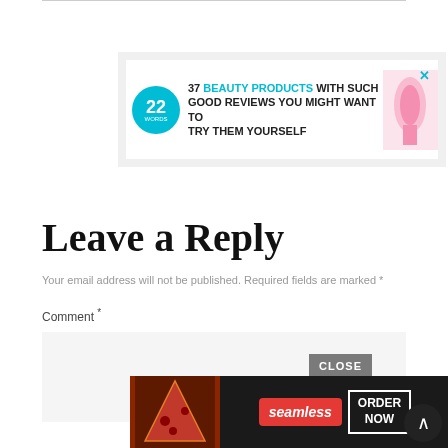[Figure (screenshot): Advertisement banner: '22 Words' logo (teal circle) with text '37 BEAUTY PRODUCTS WITH SUCH GOOD REVIEWS YOU MIGHT WANT TO TRY THEM YOURSELF' and a product image on right, with X close button.]
Leave a Reply
Your email address will not be published. Required fields are marked *
Comment *
[Figure (screenshot): Bottom advertisement for Seamless food delivery showing pizza image, Seamless logo, and ORDER NOW button. A CLOSE button overlay and scroll-to-top circular button are also visible.]